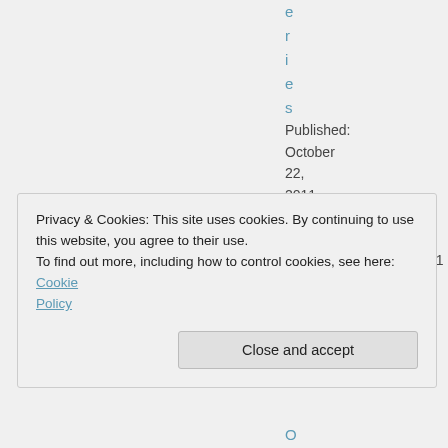e
r
i
e
s
Published: October 22, 2011
Short link: http://j.mp/AwesIndBk461
Author:
M
Privacy & Cookies: This site uses cookies. By continuing to use this website, you agree to their use.
To find out more, including how to control cookies, see here: Cookie Policy
Close and accept
O